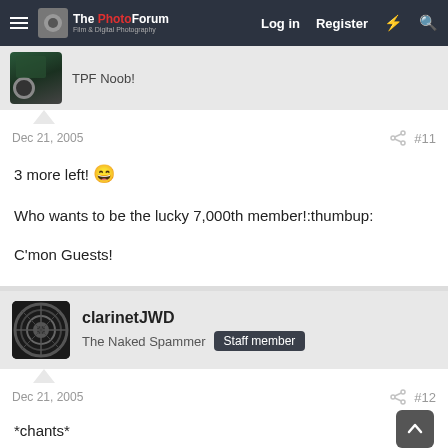The PhotoForum — Log in  Register
TPF Noob!
Dec 21, 2005  #11
3 more left! 😄
Who wants to be the lucky 7,000th member!:thumbup:
C'mon Guests!
clarinetJWD
The Naked Spammer  Staff member
Dec 21, 2005  #12
*chants*